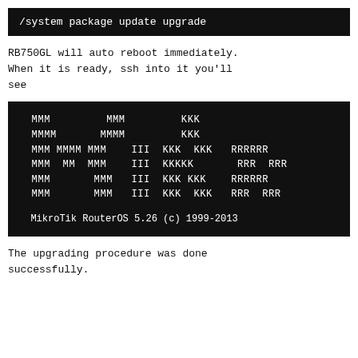[Figure (screenshot): Black terminal box showing command: /system package update upgrade]
RB750GL will auto reboot immediately. When it is ready, ssh into it you'll see
[Figure (screenshot): Black terminal box showing MikroTik RouterOS ASCII logo and version text: MikroTik RouterOS 5.26 (c) 1999-2013]
The upgrading procedure was done successfully.